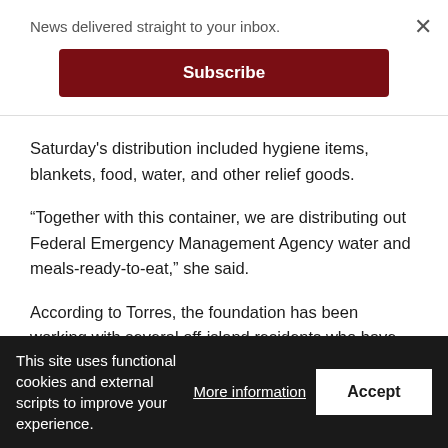News delivered straight to your inbox.
Subscribe
Saturday's distribution included hygiene items, blankets, food, water, and other relief goods.
“Together with this container, we are distributing out Federal Emergency Management Agency water and meals-ready-to-eat,” she said.
According to Torres, the foundation has been working with several off-island residents who have reached out to the foundation to ask for its help in the distribution.
“…We are trying to service those that are really affected by the typhoon—the people in the south,” she said. “…But everybody is
This site uses functional cookies and external scripts to improve your experience.
More information
Accept